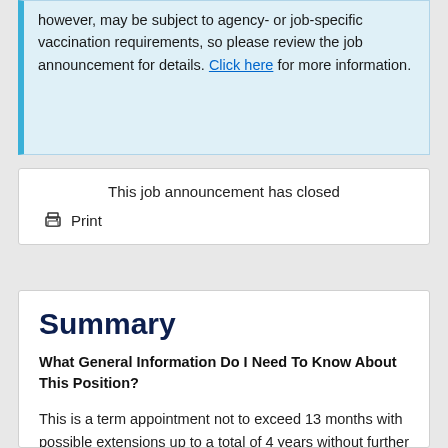however, may be subject to agency- or job-specific vaccination requirements, so please review the job announcement for details. Click here for more information.
This job announcement has closed
Print
Summary
What General Information Do I Need To Know About This Position?
This is a term appointment not to exceed 13 months with possible extensions up to a total of 4 years without further competition. Appointment to this position will